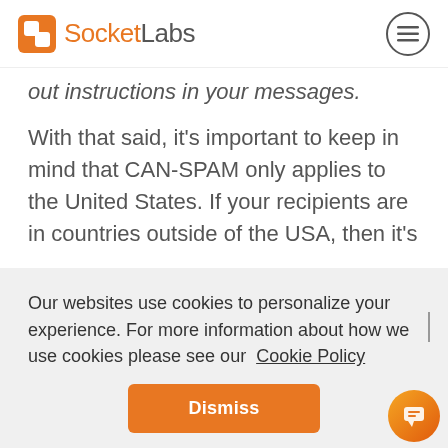SocketLabs
out instructions in your messages.
With that said, it’s important to keep in mind that CAN-SPAM only applies to the United States. If your recipients are in countries outside of the USA, then it’s
Our websites use cookies to personalize your experience. For more information about how we use cookies please see our Cookie Policy
Dismiss
Best Practices.